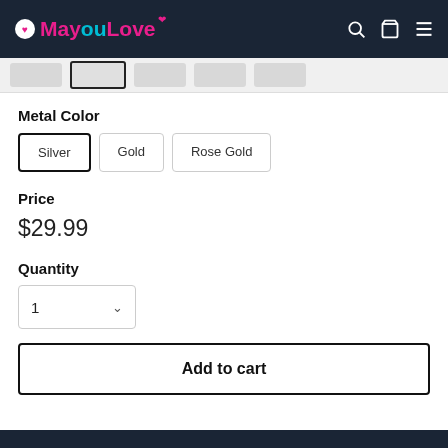MayouLove
Metal Color
Silver | Gold | Rose Gold
Price
$29.99
Quantity
1
Add to cart